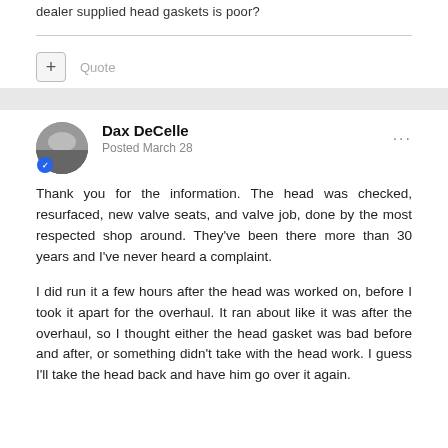dealer supplied head gaskets is poor?
Quote
Dax DeCelle
Posted March 28
Thank you for the information. The head was checked, resurfaced, new valve seats, and valve job, done by the most respected shop around. They've been there more than 30 years and I've never heard a complaint.
I did run it a few hours after the head was worked on, before I took it apart for the overhaul. It ran about like it was after the overhaul, so I thought either the head gasket was bad before and after, or something didn't take with the head work. I guess I'll take the head back and have him go over it again.